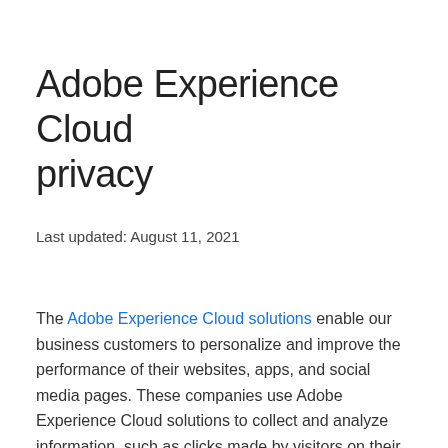Adobe Experience Cloud privacy
Last updated: August 11, 2021
The Adobe Experience Cloud solutions enable our business customers to personalize and improve the performance of their websites, apps, and social media pages. These companies use Adobe Experience Cloud solutions to collect and analyze information, such as clicks made by visitors on their websites, pages visited, social media...